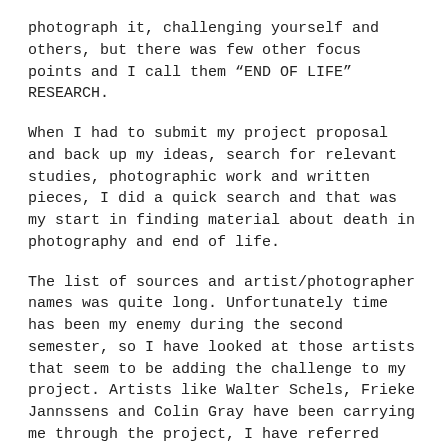photograph it, challenging yourself and others, but there was few other focus points and I call them “END OF LIFE” RESEARCH.
When I had to submit my project proposal and back up my ideas, search for relevant studies, photographic work and written pieces, I did a quick search and that was my start in finding material about death in photography and end of life.
The list of sources and artist/photographer names was quite long. Unfortunately time has been my enemy during the second semester, so I have looked at those artists that seem to be adding the challenge to my project. Artists like Walter Schels, Frieke Jannssens and Colin Gray have been carrying me through the project, I have referred back to them numerous times,  but I haven’t been through a process of doing the case studies.